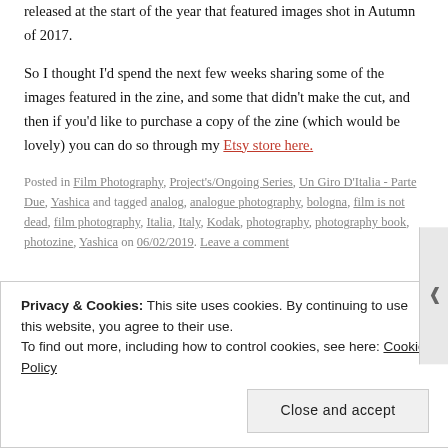released at the start of the year that featured images shot in Autumn of 2017.
So I thought I'd spend the next few weeks sharing some of the images featured in the zine, and some that didn't make the cut, and then if you'd like to purchase a copy of the zine (which would be lovely) you can do so through my Etsy store here.
Posted in Film Photography, Project's/Ongoing Series, Un Giro D'Italia - Parte Due, Yashica and tagged analog, analogue photography, bologna, film is not dead, film photography, Italia, Italy, Kodak, photography, photography book, photozine, Yashica on 06/02/2019. Leave a comment
Privacy & Cookies: This site uses cookies. By continuing to use this website, you agree to their use.
To find out more, including how to control cookies, see here: Cookie Policy